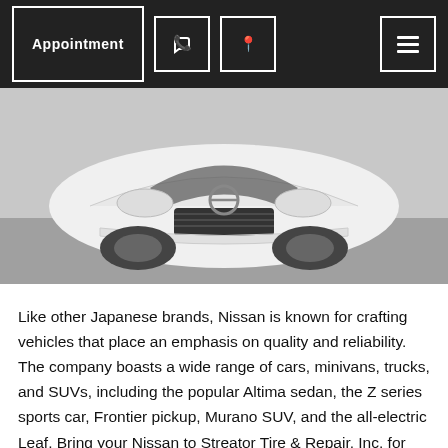Appointment | Phone | Location | Menu
[Figure (photo): Front view of a white Nissan Altima sedan photographed from slightly above at a parking lot]
Like other Japanese brands, Nissan is known for crafting vehicles that place an emphasis on quality and reliability. The company boasts a wide range of cars, minivans, trucks, and SUVs, including the popular Altima sedan, the Z series sports car, Frontier pickup, Murano SUV, and the all-electric Leaf. Bring your Nissan to Streator Tire & Repair, Inc. for repairs done thoughtfully, efficiently, and accurately.
When your Nissan needs repairs or maintenance, you can trust our Streator auto repair shop to take good care of your beautiful car. Our technicians are specially trained to